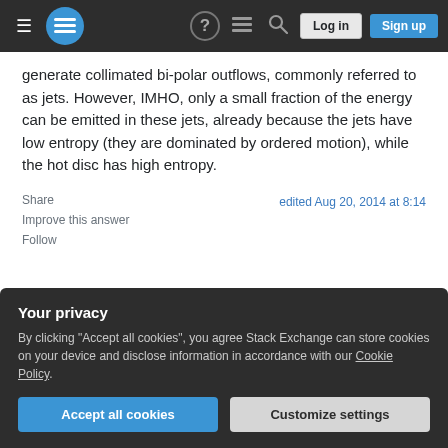Stack Exchange navigation bar with hamburger menu, logo, help, chat, search icons, Log in and Sign up buttons
generate collimated bi-polar outflows, commonly referred to as jets. However, IMHO, only a small fraction of the energy can be emitted in these jets, already because the jets have low entropy (they are dominated by ordered motion), while the hot disc has high entropy.
Share  |  edited Aug 20, 2014 at 8:14
Improve this answer
Follow
Your privacy
By clicking "Accept all cookies", you agree Stack Exchange can store cookies on your device and disclose information in accordance with our Cookie Policy.
Accept all cookies   Customize settings
2014 at 17:06